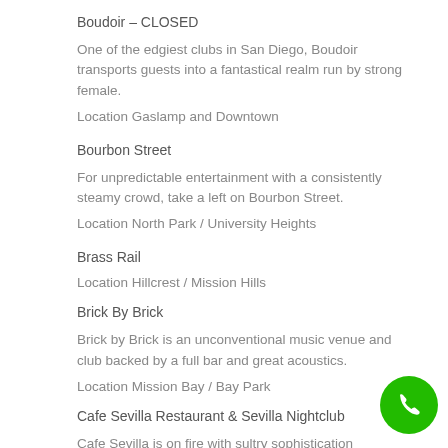Boudoir – CLOSED
One of the edgiest clubs in San Diego, Boudoir transports guests into a fantastical realm run by strong female.
Location Gaslamp and Downtown
Bourbon Street
For unpredictable entertainment with a consistently steamy crowd, take a left on Bourbon Street.
Location North Park / University Heights
Brass Rail
Location Hillcrest / Mission Hills
Brick By Brick
Brick by Brick is an unconventional music venue and club backed by a full bar and great acoustics.
Location Mission Bay / Bay Park
Cafe Sevilla Restaurant & Sevilla Nightclub
Cafe Sevilla is on fire with sultry sophistication